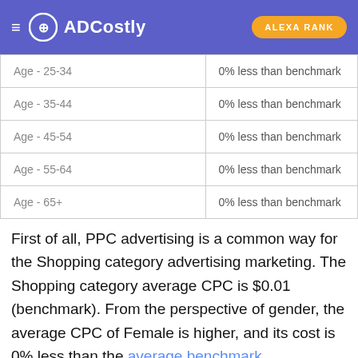ADCostly | ALEXA RANK
| Age - 25-34 | 0% less than benchmark |
| Age - 35-44 | 0% less than benchmark |
| Age - 45-54 | 0% less than benchmark |
| Age - 55-64 | 0% less than benchmark |
| Age - 65+ | 0% less than benchmark |
First of all, PPC advertising is a common way for the Shopping category advertising marketing. The Shopping category average CPC is $0.01 (benchmark). From the perspective of gender, the average CPC of Female is higher, and its cost is 0% less than the average benchmark